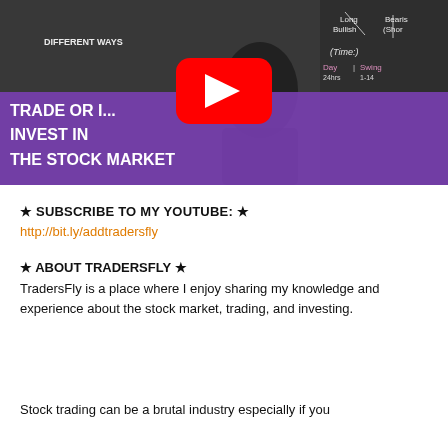[Figure (screenshot): YouTube video thumbnail showing a man at a chalkboard with text overlay 'DIFFERENT WAYS TO TRADE OR INVEST IN THE STOCK MARKET' and a YouTube play button]
★ SUBSCRIBE TO MY YOUTUBE: ★
http://bit.ly/addtradersfly
★ ABOUT TRADERSFLY ★
TradersFly is a place where I enjoy sharing my knowledge and experience about the stock market, trading, and investing.
Stock trading can be a brutal industry especially if you